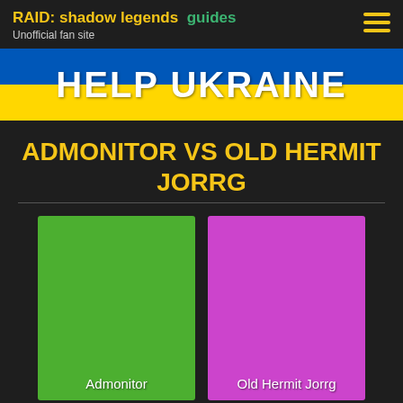RAID: shadow legends guides
Unofficial fan site
[Figure (infographic): Ukrainian flag banner with text HELP UKRAINE — blue top half, yellow bottom half]
ADMONITOR VS OLD HERMIT JORRG
[Figure (infographic): Two champion color cards side by side: green card labeled Admonitor and purple card labeled Old Hermit Jorrg]